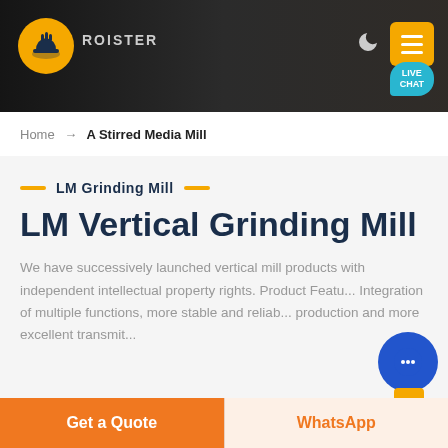[Figure (screenshot): Website header with dark industrial background, orange logo, company name, moon/dark mode icon, yellow hamburger menu button, and teal LIVE CHAT bubble]
Home → A Stirred Media Mill
LM Grinding Mill
LM Vertical Grinding Mill
We have successively launched vertical mill products with independent intellectual property rights. Product Features Integration of multiple functions, more stable and reliable production and more excellent transmit...